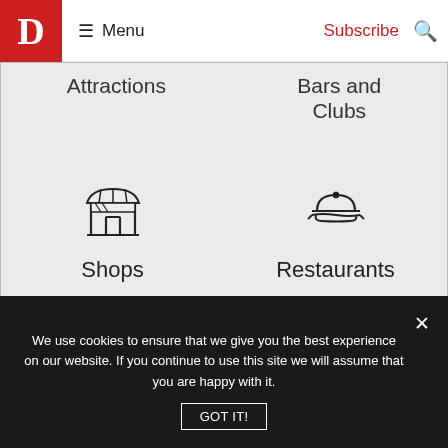D Menu Subscribe
[Figure (screenshot): Dropdown navigation menu on a magazine website showing partially visible 'Attractions' and 'Bars and Clubs' menu items at top, then 'Shops' and 'Restaurants' items with icons (shop storefront icon and serving dish icon), and a dark 'View all Directories' button]
We use cookies to ensure that we give you the best experience on our website. If you continue to use this site we will assume that you are happy with it.
GOT IT!